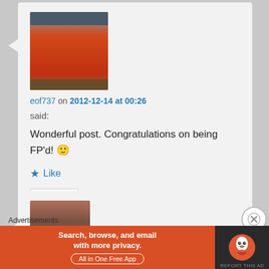[Figure (photo): Avatar photo of a Japanese torii/gate building with orange/red colors and traditional roof]
eof737 on 2012-12-14 at 00:26
said:
Wonderful post. Congratulations on being FP'd! 🙂
★ Like
Reply ↓
[Figure (photo): Avatar photo of a woman with brown hair]
Advertisements
[Figure (screenshot): DuckDuckGo advertisement: Search, browse, and email with more privacy. All in One Free App.]